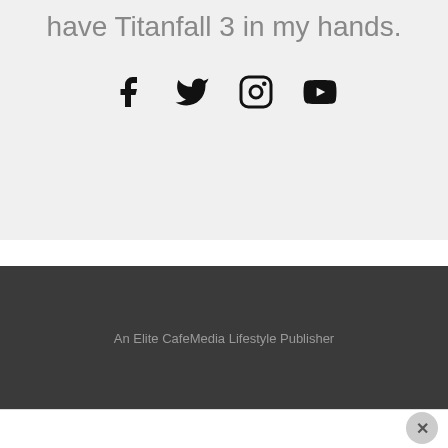have Titanfall 3 in my hands.
[Figure (other): Four social media icons: Facebook, Twitter, Instagram, YouTube]
An Elite CafeMedia Lifestyle Publisher
[Figure (other): Close/dismiss button (X) in bottom right corner]